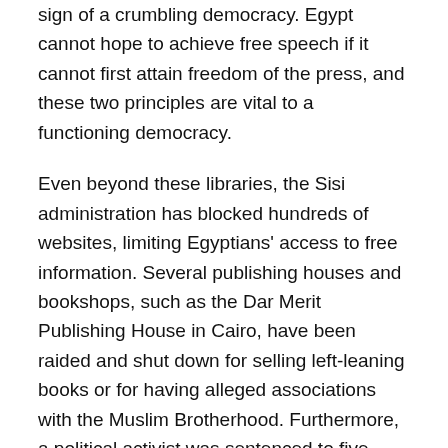sign of a crumbling democracy. Egypt cannot hope to achieve free speech if it cannot first attain freedom of the press, and these two principles are vital to a functioning democracy.
Even beyond these libraries, the Sisi administration has blocked hundreds of websites, limiting Egyptians' access to free information. Several publishing houses and bookshops, such as the Dar Merit Publishing House in Cairo, have been raided and shut down for selling left-leaning books or for having alleged associations with the Muslim Brotherhood. Furthermore, a political activist was sentenced to five years in prison for owning a copy of Karl Marx's Value, Price and Profit, and a novelist was imprisoned for one year for “offending public modesty” with his novel’s sexually-related themes and vocabulary.
The state government even has its own publishing house, the